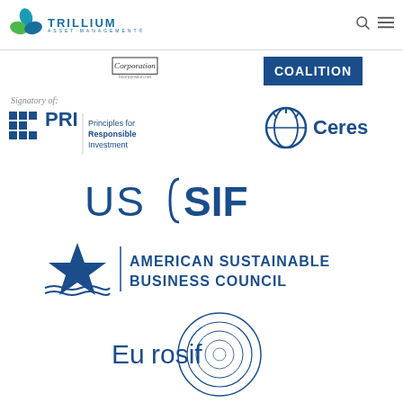[Figure (logo): Trillium Asset Management logo with teal/green leaf icon and navigation icons]
[Figure (logo): B Corporation logo (bcorporation.net)]
[Figure (logo): COALITION logo in dark blue box]
Signatory of:
[Figure (logo): PRI - Principles for Responsible Investment logo]
[Figure (logo): Ceres logo with globe icon]
[Figure (logo): US SIF logo]
[Figure (logo): American Sustainable Business Council logo with star icon]
[Figure (logo): Eurosif logo with circular spiral design]